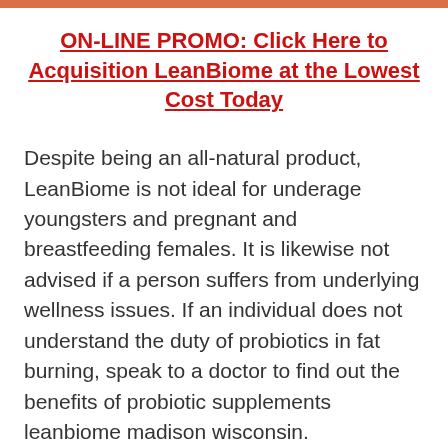ON-LINE PROMO: Click Here to Acquisition LeanBiome at the Lowest Cost Today
Despite being an all-natural product, LeanBiome is not ideal for underage youngsters and pregnant and breastfeeding females. It is likewise not advised if a person suffers from underlying wellness issues. If an individual does not understand the duty of probiotics in fat burning, speak to a doctor to find out the benefits of probiotic supplements leanbiome madison wisconsin.
Note: The LeanBiome weight-loss supplement is solely readily available online and can be bought